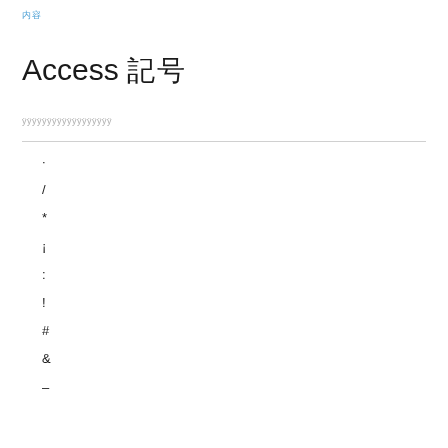内容
Access 記号
ffffffffffffffffff
·
/
*
¡
:
!
#
&
–